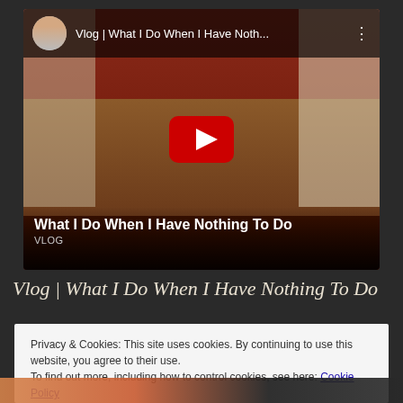[Figure (screenshot): YouTube embedded video player showing a room interior with a desk and fan. Title bar shows 'Vlog | What I Do When I Have Noth...' with channel avatar. Red YouTube play button in center. Bottom overlay shows title 'What I Do When I Have Nothing To Do' and label 'VLOG'.]
Vlog | What I Do When I Have Nothing To Do
Privacy & Cookies: This site uses cookies. By continuing to use this website, you agree to their use.
To find out more, including how to control cookies, see here: Cookie Policy
Close and accept